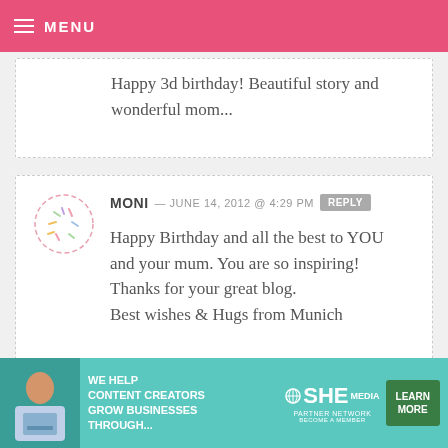MENU
Happy 3d birthday! Beautiful story and wonderful mom...
MONI — JUNE 14, 2012 @ 4:29 PM  REPLY
Happy Birthday and all the best to YOU and your mum. You are so inspiring! Thanks for your great blog.
Best wishes & Hugs from Munich
[Figure (other): Ad banner: SHE Media Partner Network. WE HELP CONTENT CREATORS GROW BUSINESSES THROUGH... LEARN MORE BECOME A MEMBER]
X